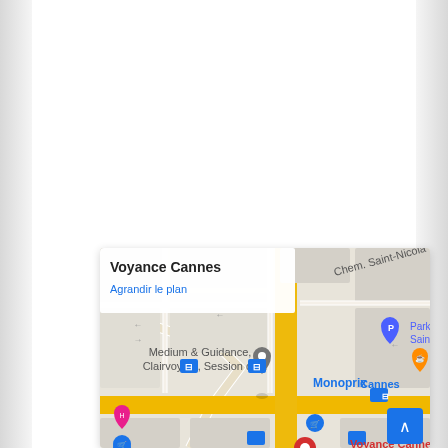[Figure (map): Google Maps screenshot showing Voyance Cannes location with surrounding streets, landmarks including Monoprix, Parking Cannes Saint-Nicolas, bus stops, and a 'scroll to top' button. Map labels include 'Medium & Guidance, Clairvoyant, Session de...', 'Chem. Saint-Nicola', 'Cannes'. Overlay card shows 'Voyance Cannes' title and 'Agrandir le plan' link.]